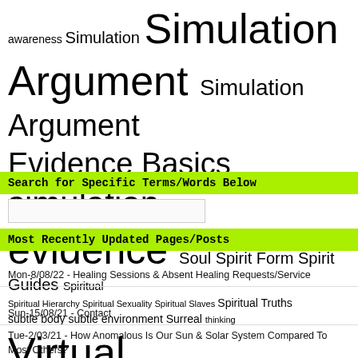[Figure (other): Tag cloud with words of varying sizes including: awareness, Simulation, Simulation Argument, Simulation Argument, Evidence, Basics, simulation, evidence, Soul, Spirit Form, Spirit Guides, Spiritual, Spiritual Hierarchy, Spiritual Sexuality, Spiritual Slaves, Spiritual Truths, subtle body, subtle environment, Surreal, thinking, Virtual Reality]
Search for Specific Terms/Words Below
Most Recently Updated Pages/Posts
Mon-8/08/22 - Healing Sessions & Absent Healing Requests/Service
Sun-15/08/21 - Contact
Tue-2/03/21 - How Anomalous Is Our Sun & Solar System Compared To Most Others?